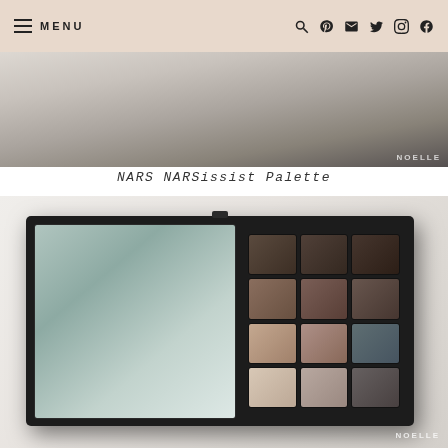MENU [navigation icons: search, pinterest, email, twitter, instagram, facebook]
[Figure (photo): Top partial photo of a black NARS palette box on a white fur surface, with NOELLE watermark]
NARS NARSissist Palette
[Figure (photo): Open NARS NARSissist eyeshadow palette on white fur surface, showing mirror on left and 12 eyeshadow pans in neutral/dark tones on right, with NOELLE watermark]